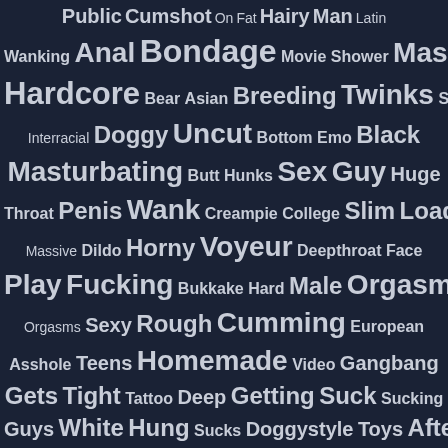[Figure (infographic): Tag cloud / word cloud on dark navy background with words in varying font sizes indicating frequency/popularity. Words include adult content tags in white/light gray text on dark blue-gray background.]